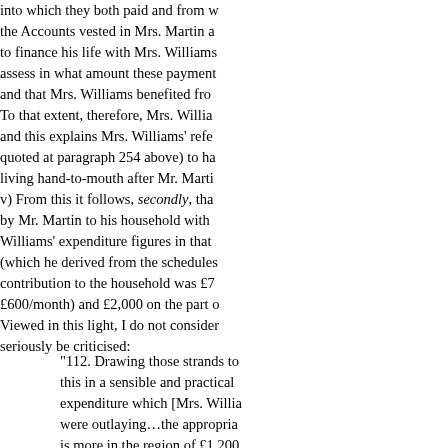into which they both paid and from which the Accounts vested in Mrs. Martin a to finance his life with Mrs. Williams assess in what amount these payment and that Mrs. Williams benefited fro To that extent, therefore, Mrs. Willia and this explains Mrs. Williams' refe quoted at paragraph 254 above) to ha living hand-to-mouth after Mr. Marti
v) From this it follows, secondly, tha by Mr. Martin to his household with Williams' expenditure figures in that (which he derived from the schedules contribution to the household was £7 £600/month) and £2,000 on the part Viewed in this light, I do not conside seriously be criticised:
"112. Drawing those strands to this in a sensible and practical expenditure which [Mrs. Willia were outlaying…the appropria is more in the region of £1,200 being the appropriate one to us
113. I should say that I am wel detail at all, but one has got to